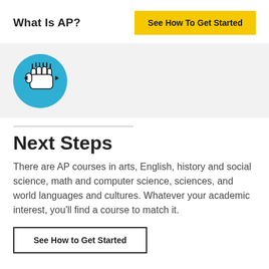What Is AP?
See How To Get Started
[Figure (illustration): Blue circle icon with a raised fist holding a pencil or pen, representing student empowerment or next steps.]
Next Steps
There are AP courses in arts, English, history and social science, math and computer science, sciences, and world languages and cultures. Whatever your academic interest, you'll find a course to match it.
See How to Get Started